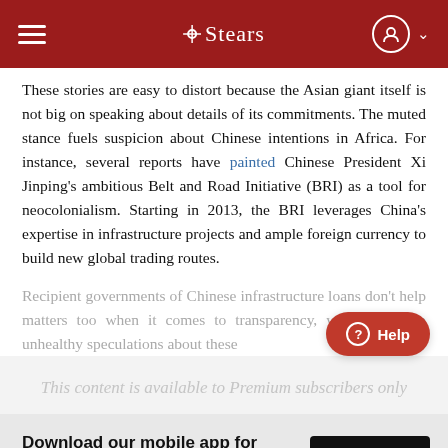Stears
These stories are easy to distort because the Asian giant itself is not big on speaking about details of its commitments. The muted stance fuels suspicion about Chinese intentions in Africa. For instance, several reports have painted Chinese President Xi Jinping's ambitious Belt and Road Initiative (BRI) as a tool for neocolonialism. Starting in 2013, the BRI leverages China's expertise in infrastructure projects and ample foreign currency to build new global trading routes.
Recipient governments of Chinese infrastructure loans don't help matters too when it comes to transparency, which leads to unhealthy speculations about these
This content is available to Premium subscribers only
Download our mobile app for a more immersive reading experience